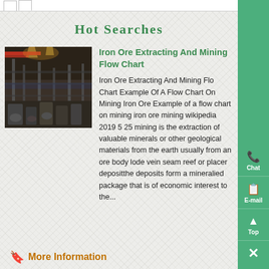Hot Searches
[Figure (photo): Industrial mining facility interior with heavy machinery and steel structures]
Iron Ore Extracting And Mining Flow Chart
Iron Ore Extracting And Mining Flow Chart Example Of A Flow Chart On Mining Iron Ore Example of a flow chart on mining iron ore mining wikipedia 2019 5 25 mining is the extraction of valuable minerals or other geological materials from the earth usually from an ore body lode vein seam reef or placer depositthe deposits form a mineralied package that is of economic interest to the...
More Information